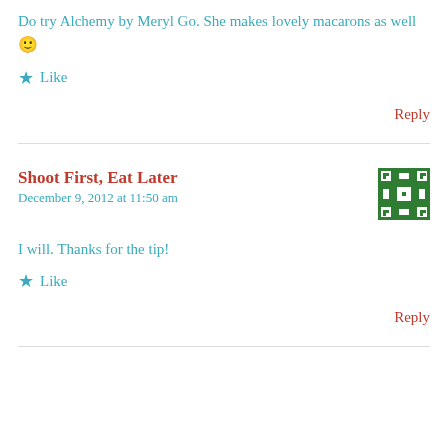Do try Alchemy by Meryl Go. She makes lovely macarons as well 🙂
★ Like
Reply
Shoot First, Eat Later
December 9, 2012 at 11:50 am
[Figure (other): Green and white decorative avatar/icon with geometric pattern]
I will. Thanks for the tip!
★ Like
Reply